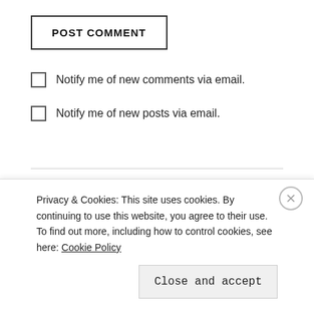POST COMMENT
Notify me of new comments via email.
Notify me of new posts via email.
RECENT POSTS
Letter published by WaPo in re: Whole Foods rating system
Privacy & Cookies: This site uses cookies. By continuing to use this website, you agree to their use.
To find out more, including how to control cookies, see here: Cookie Policy
Close and accept